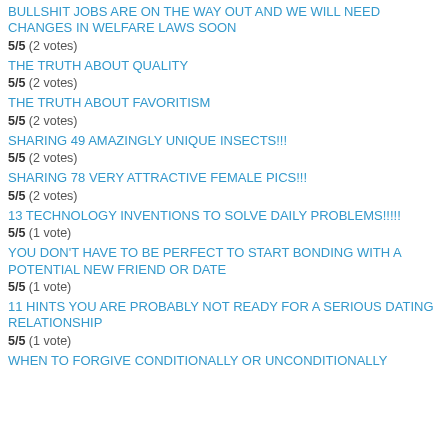BULLSHIT JOBS ARE ON THE WAY OUT AND WE WILL NEED CHANGES IN WELFARE LAWS SOON
5/5 (2 votes)
THE TRUTH ABOUT QUALITY
5/5 (2 votes)
THE TRUTH ABOUT FAVORITISM
5/5 (2 votes)
SHARING 49 AMAZINGLY UNIQUE INSECTS!!!
5/5 (2 votes)
SHARING 78 VERY ATTRACTIVE FEMALE PICS!!!
5/5 (2 votes)
13 TECHNOLOGY INVENTIONS TO SOLVE DAILY PROBLEMS!!!!!
5/5 (1 vote)
YOU DON'T HAVE TO BE PERFECT TO START BONDING WITH A POTENTIAL NEW FRIEND OR DATE
5/5 (1 vote)
11 HINTS YOU ARE PROBABLY NOT READY FOR A SERIOUS DATING RELATIONSHIP
5/5 (1 vote)
WHEN TO FORGIVE CONDITIONALLY OR UNCONDITIONALLY